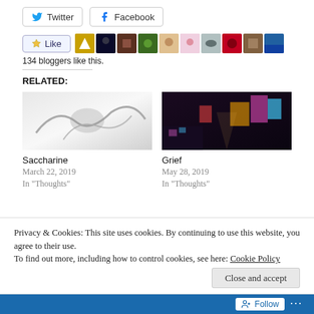[Figure (other): Social share buttons: Twitter and Facebook]
[Figure (other): Like button with star icon and a strip of 10 blogger avatar thumbnails]
134 bloggers like this.
RELATED:
[Figure (photo): Black and white abstract photo, possibly crumpled fabric or paper]
[Figure (photo): Dark neon-lit city alley at night with colorful signs]
Saccharine
March 22, 2019
In "Thoughts"
Grief
May 28, 2019
In "Thoughts"
Privacy & Cookies: This site uses cookies. By continuing to use this website, you agree to their use.
To find out more, including how to control cookies, see here: Cookie Policy
Close and accept
Follow